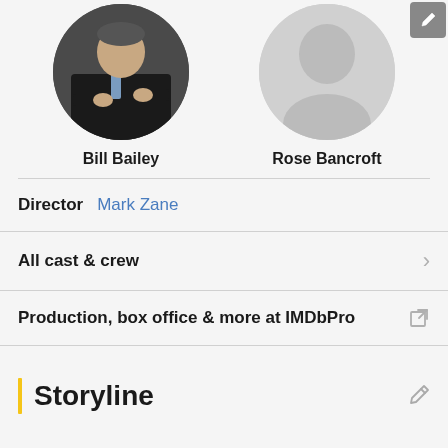[Figure (photo): Profile photo of Bill Bailey — man in dark suit with arms crossed, circular crop]
Bill Bailey
[Figure (photo): Placeholder profile image for Rose Bancroft — grey circular silhouette/avatar]
Rose Bancroft
Director   Mark Zane
All cast & crew
Production, box office & more at IMDbPro
Storyline